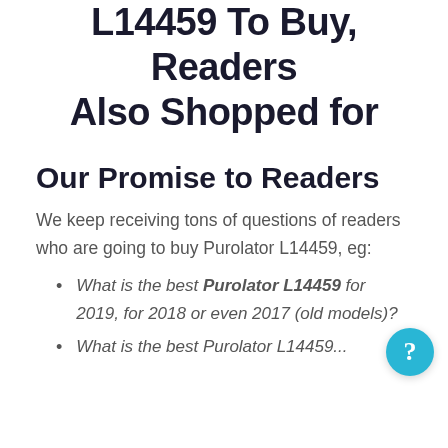L14459 To Buy, Readers Also Shopped for
Our Promise to Readers
We keep receiving tons of questions of readers who are going to buy Purolator L14459, eg:
What is the best Purolator L14459 for 2019, for 2018 or even 2017 (old models)?
What is the best Purolator L14459...